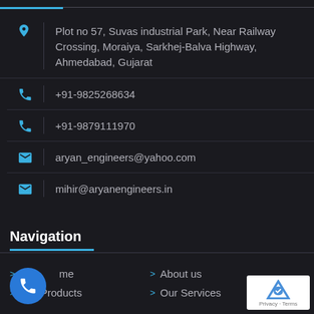Plot no 57, Suvas industrial Park, Near Railway Crossing, Moraiya, Sarkhej-Balva Highway, Ahmedabad, Gujarat
+91-9825268634
+91-9879111970
aryan_engineers@yahoo.com
mihir@aryanengineers.in
Navigation
> Home
> About us
> Our Products
> Our Services